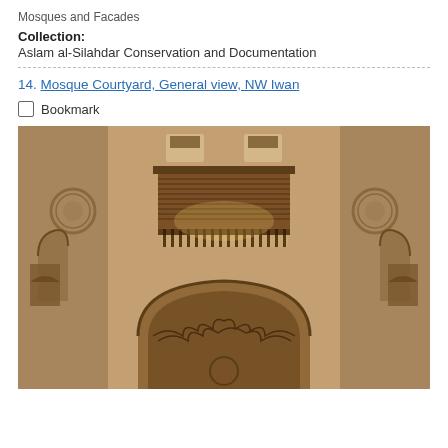Mosques and Facades
Collection:
Aslam al-Silahdar Conservation and Documentation
14. Mosque Courtyard, General view, NW Iwan
Bookmark
[Figure (photo): Interior view of a mosque courtyard showing stone walls with decorative carved circular medallions and pointed arch niches. A wooden balcony/mezzanine structure with horizontal wooden planks is visible in the upper center. Below is a large horseshoe arch decorated with muqarnas (stalactite-like carved ornamental decorations). The walls are plastered stone in warm tan/golden tones.]